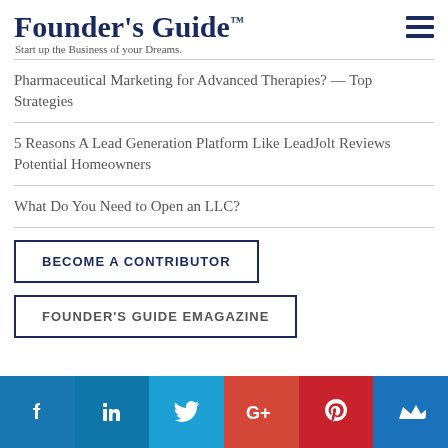Founder's Guide™ — Start up the Business of your Dreams.
Pharmaceutical Marketing for Advanced Therapies? — Top Strategies
5 Reasons A Lead Generation Platform Like LeadJolt Reviews Potential Homeowners
What Do You Need to Open an LLC?
BECOME A CONTRIBUTOR
FOUNDER'S GUIDE EMAGAZINE
[Figure (infographic): Social media bar with icons for Facebook, LinkedIn, Twitter, Google+, Pinterest, and Klout/crown icon]